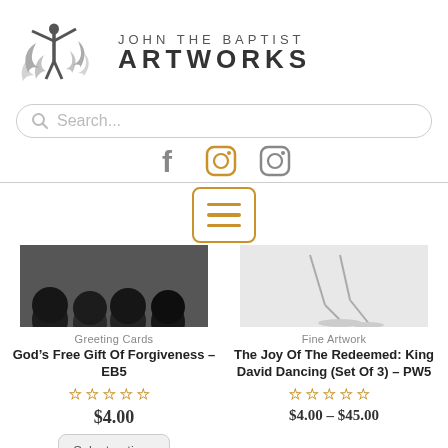[Figure (logo): John The Baptist Artworks logo with stylized figure and swirls]
[Figure (screenshot): Search bar with magnifying glass icon and placeholder text 'Search...']
[Figure (infographic): Social media icons: Facebook (f), Instagram (camera), Instagram (camera)]
[Figure (infographic): Hamburger menu button with orange/gold border and three horizontal lines]
[Figure (photo): Black and white photo showing backs of heads of people]
Greeting Cards
God’s Free Gift Of Forgiveness – EB5
[Figure (infographic): Five empty star rating icons in gold/yellow]
$4.00
[Figure (screenshot): Select options button]
[Figure (photo): Black and white sketch/drawing of legs and feet dancing]
Fine Artwork
The Joy Of The Redeemed: King David Dancing (Set Of 3) – PW5
[Figure (infographic): Five empty star rating icons in gold/yellow]
$4.00 – $45.00